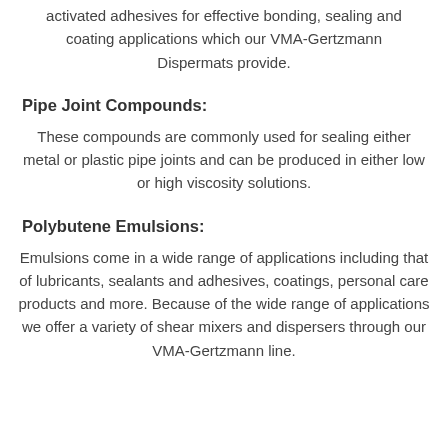activated adhesives for effective bonding, sealing and coating applications which our VMA-Gertzmann Dispermats provide.
Pipe Joint Compounds:
These compounds are commonly used for sealing either metal or plastic pipe joints and can be produced in either low or high viscosity solutions.
Polybutene Emulsions:
Emulsions come in a wide range of applications including that of lubricants, sealants and adhesives, coatings, personal care products and more. Because of the wide range of applications we offer a variety of shear mixers and dispersers through our VMA-Gertzmann line.